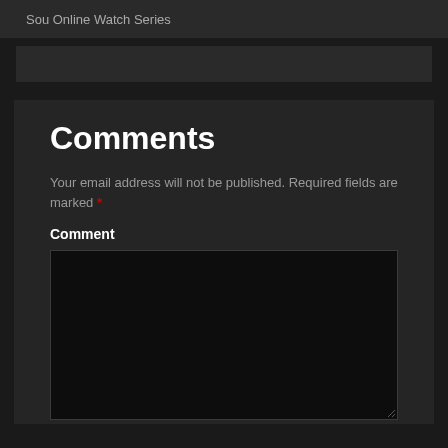Sou Online Watch Series
Comments
Your email address will not be published. Required fields are marked *
Comment